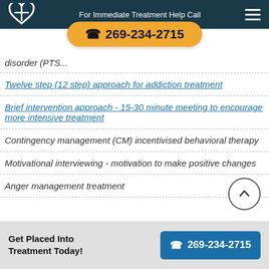For Immediate Treatment Help Call 269-234-2715
disorder (PTS...
Twelve step (12 step) approach for addiction treatment
Brief intervention approach - 15-30 minute meeting to encourage more intensive treatment
Contingency management (CM) incentivised behavioral therapy
Motivational interviewing - motivation to make positive changes
Anger management treatment
Get Placed Into Treatment Today! 269-234-2715